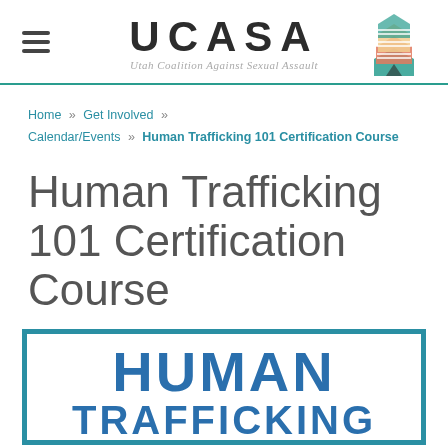[Figure (logo): UCASA logo with hexagonal icon — Utah Coalition Against Sexual Assault]
Home » Get Involved » Calendar/Events » Human Trafficking 101 Certification Course
Human Trafficking 101 Certification Course
[Figure (illustration): Partial flyer with teal border showing 'HUMAN TRAFFICKING' text in bold blue]